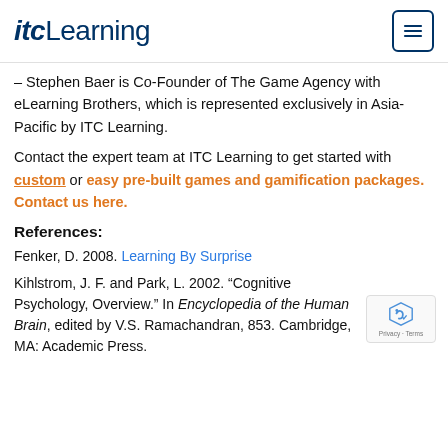itcLearning
– Stephen Baer is Co-Founder of The Game Agency with eLearning Brothers, which is represented exclusively in Asia-Pacific by ITC Learning.
Contact the expert team at ITC Learning to get started with custom or easy pre-built games and gamification packages. Contact us here.
References:
Fenker, D. 2008. Learning By Surprise
Kihlstrom, J. F. and Park, L. 2002. “Cognitive Psychology, Overview.” In Encyclopedia of the Human Brain, edited by V.S. Ramachandran, 853. Cambridge, MA: Academic Press.